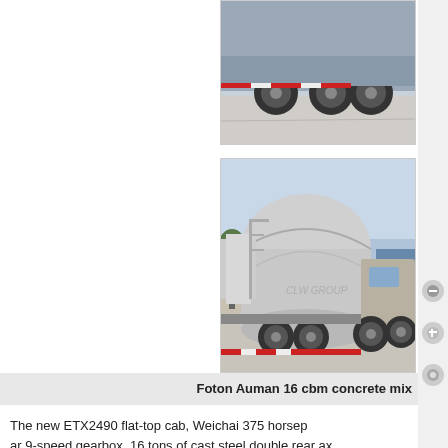[Figure (photo): Partial view of a concrete mixer truck from above/behind, showing axles and road surface — only bottom portion visible, cropped]
[Figure (photo): Foton Auman 16 cbm concrete mixer truck with large cylindrical drum, white/grey color, CLW GROUP watermark, photographed in a parking area with trees in background]
Foton Auman 16 cbm concrete mix
The new ETX2490 flat-top cab, Weichai 375 horsep ar 9-speed gearbox, 16 tons of cast steel double rear ax